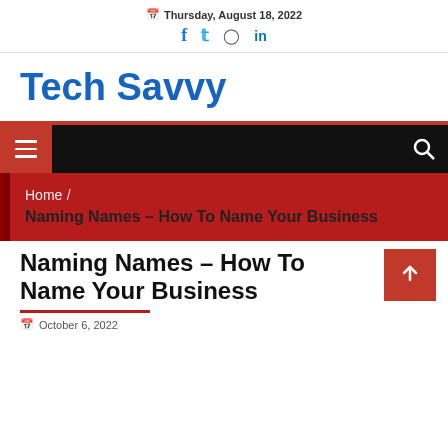📅 Thursday, August 18, 2022
Tech Savvy
[Figure (infographic): Black navigation bar with red hamburger menu button on left and white search icon on right]
Home / Naming Names – How To Name Your Business
Naming Names – How To Name Your Business
October 6, 2022